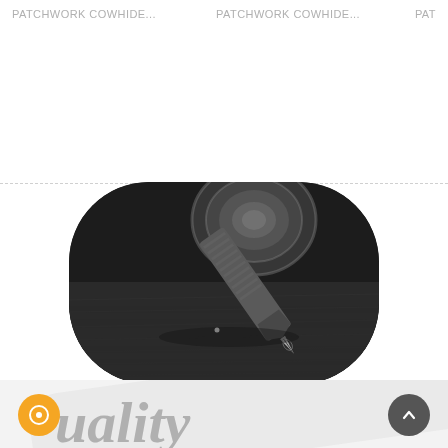PATCHWORK COWHIDE...   PATCHWORK COWHIDE...   PAT
[Figure (photo): Black and white close-up photograph of a fountain pen nib resting on textured leather, with a blurred circular metal object in the background, displayed in a rounded rectangle frame.]
Bespoke services
You will get a one-of-a-kind rug, made just for you. We craft each rug upon order and we can customize any and all features on request to fit your exact needs.
[Figure (photo): Partial view of a black and white image showing the word 'quality' in italic text, cropped at the bottom of the page.]